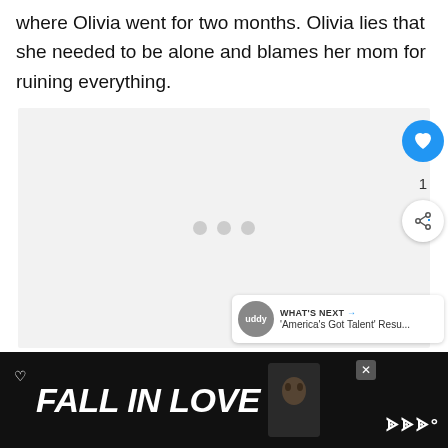where Olivia went for two months. Olivia lies that she needed to be alone and blames her mom for ruining everything.
[Figure (screenshot): Video/media loading placeholder area with three grey dots indicating loading state, with social interaction buttons (heart/like button in blue, like count of 1, share button) on the right side, and a 'WHAT'S NEXT' thumbnail showing 'America's Got Talent' Resu... in bottom right]
[Figure (screenshot): Black advertisement banner at the bottom reading 'FALL IN LOVE' in large white italic text with a dog image and brand logo]